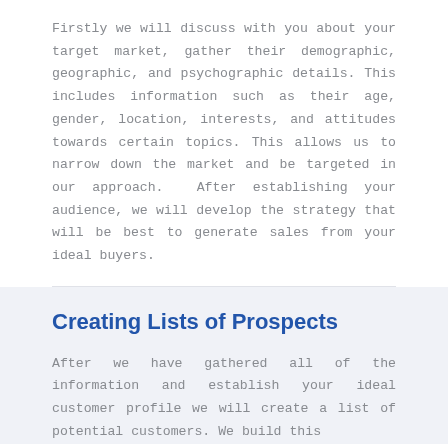Firstly we will discuss with you about your target market, gather their demographic, geographic, and psychographic details. This includes information such as their age, gender, location, interests, and attitudes towards certain topics. This allows us to narrow down the market and be targeted in our approach.  After establishing your audience, we will develop the strategy that will be best to generate sales from your ideal buyers.
Creating Lists of Prospects
After we have gathered all of the information and establish your ideal customer profile we will create a list of potential customers. We build this